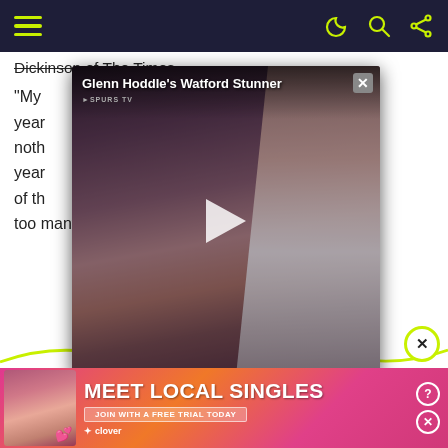Navigation bar with hamburger menu and icons
Dickinson of The Times
“My years is nothing of years some of the are too many injustices around.
[Figure (screenshot): Video player overlay showing Glenn Hoddle's Watford Stunner with a play button, SPURS TV branding, and a close button. Background shows a football player in white kit.]
[Figure (screenshot): Search advertisement box with 'Search for' header and item 1: FREE LIVE FOOTBALL STREAMING with chevron arrow, and partial second item showing OTBALL FAN]
[Figure (screenshot): Bottom banner advertisement for Meet Local Singles with a woman photo, join with a free trial button, and Clover branding]